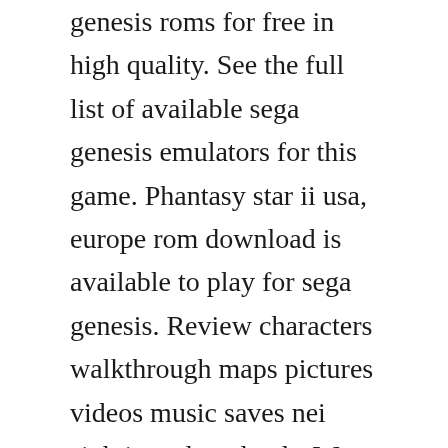genesis roms for free in high quality. See the full list of available sega genesis emulators for this game. Phantasy star ii usa, europe rom download is available to play for sega genesis. Review characters walkthrough maps pictures videos music saves nei sightings downloads. We induct this classic sega genesis roleplaying game into our list of greatest games of all time. Which phantasy star genesismaster system game is the best. The end of the millennium is a roleplaying video game developed and published by sega. Nov 29, 2006 all the latest phantasy star 2 cheats,